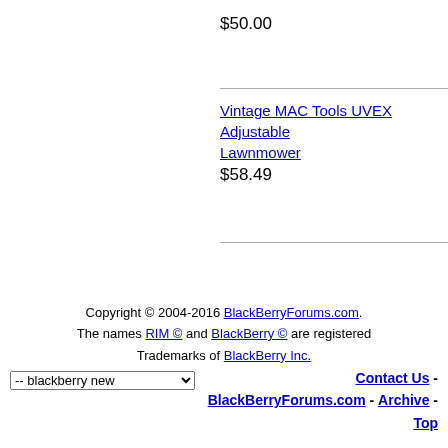$50.00
Vintage MAC Tools UVEX Adjustable Lawnmower
$58.49
Copyright © 2004-2016 BlackBerryForums.com. The names RIM © and BlackBerry © are registered Trademarks of BlackBerry Inc.
Contact Us - BlackBerryForums.com - Archive - Top